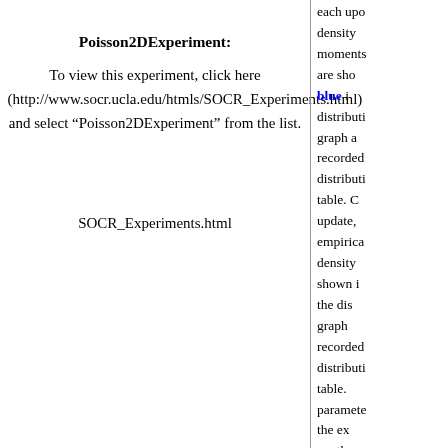Poisson2DExperiment:
To view this experiment, click here (http://www.socr.ucla.edu/htmls/SOCR_Experiments.html) and select “Poisson2DExperiment” from the list.
SOCR_Experiments.html
each update, density moments are shown, blue in distribution graph and recorded distribution table. On update, empirical density shown in the distribution graph recorded distribution table. parameters the experiment are the n the proc